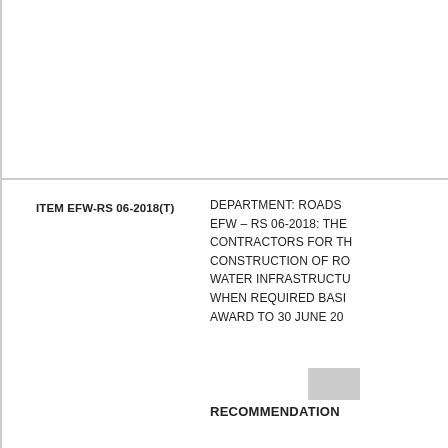ITEM EFW-RS 06-2018(T)
DEPARTMENT: ROADS EFW – RS 06-2018: THE CONTRACTORS FOR THE CONSTRUCTION OF ROADS, WATER INFRASTRUCTURE WHEN REQUIRED BASIS FROM AWARD TO 30 JUNE 20
RECOMMENDATION